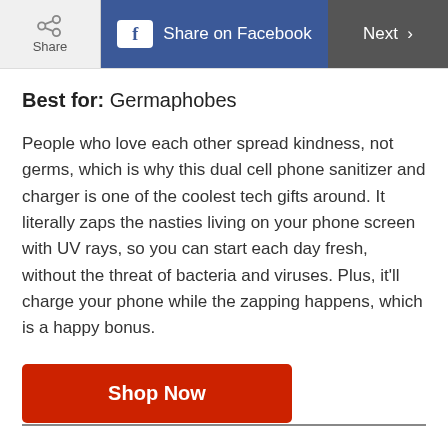Share | Share on Facebook | Next >
Best for: Germaphobes
People who love each other spread kindness, not germs, which is why this dual cell phone sanitizer and charger is one of the coolest tech gifts around. It literally zaps the nasties living on your phone screen with UV rays, so you can start each day fresh, without the threat of bacteria and viruses. Plus, it'll charge your phone while the zapping happens, which is a happy bonus.
Shop Now